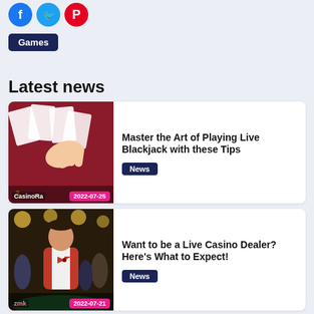[Figure (infographic): Three social media icon circles: Facebook (blue), Twitter (light blue), Pinterest (red)]
Games
Latest news
[Figure (photo): Close-up of blackjack cards and hand on red casino table, branded CasinoRa, date 2022-07-25]
Master the Art of Playing Live Blackjack with these Tips
News
[Figure (photo): Casino dealer in red vest at table with players in background, date 2022-07-21]
Want to be a Live Casino Dealer? Here's What to Expect!
News